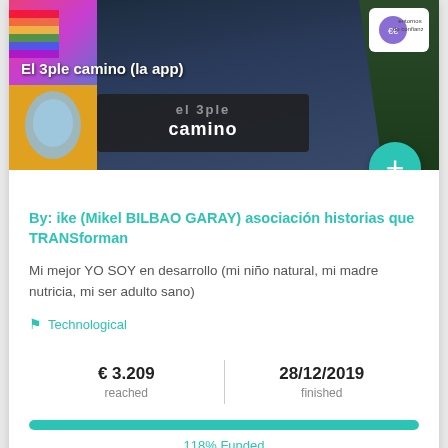[Figure (screenshot): App screenshot header showing 'El 3ple camino' title on dark background with rainbow/colorful images, plus button, and trust badge logo]
By: ike (Mikel BILBAO GARAY) asociación historias que TRANSforman
Mi mejor YO SOY en desarrollo (mi niño natural, mi madre nutricia, mi ser adulto sano)
Technological
€ 3.209 reached
28/12/2019 finished
118% Funded